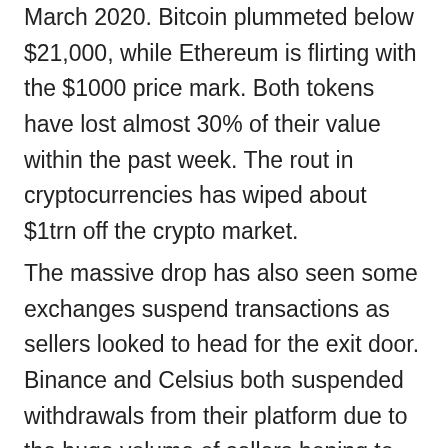March 2020. Bitcoin plummeted below $21,000, while Ethereum is flirting with the $1000 price mark. Both tokens have lost almost 30% of their value within the past week. The rout in cryptocurrencies has wiped about $1trn off the crypto market.
The massive drop has also seen some exchanges suspend transactions as sellers looked to head for the exit door. Binance and Celsius both suspended withdrawals from their platform due to the huge volume of sellers hoping to get out of the market. The Terra debacle and the collapse of Luna has also shaken the confidence of investors hoping to